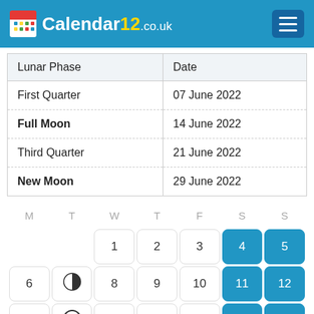Calendar12.co.uk
| Lunar Phase | Date |
| --- | --- |
| First Quarter | 07 June 2022 |
| Full Moon | 14 June 2022 |
| Third Quarter | 21 June 2022 |
| New Moon | 29 June 2022 |
| M | T | W | T | F | S | S |
| --- | --- | --- | --- | --- | --- | --- |
|  |  | 1 | 2 | 3 | 4 | 5 |
| 6 | 7 | 8 | 9 | 10 | 11 | 12 |
| 13 | 14 | 15 | 16 | 17 | 18 | 19 |
| 20 | 21 | 22 | 23 | 24 | 25 | 26 |